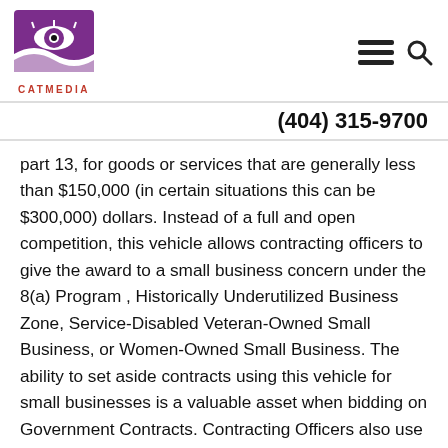[Figure (logo): CATMEDIA logo — stylized cat eye and wave shapes in purple, with red CATMEDIA text below]
(404) 315-9700
part 13, for goods or services that are generally less than $150,000 (in certain situations this can be $300,000) dollars. Instead of a full and open competition, this vehicle allows contracting officers to give the award to a small business concern under the 8(a) Program , Historically Underutilized Business Zone, Service-Disabled Veteran-Owned Small Business, or Women-Owned Small Business. The ability to set aside contracts using this vehicle for small businesses is a valuable asset when bidding on Government Contracts. Contracting Officers also use sealed bidding, discussed fully in FAR part 14, for goods